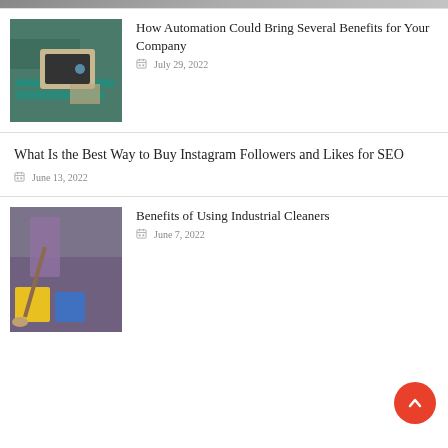[Figure (photo): Partial image at top of page (cut off)]
[Figure (photo): Person using tablet near industrial machinery - automation concept]
How Automation Could Bring Several Benefits for Your Company
July 29, 2022
What Is the Best Way to Buy Instagram Followers and Likes for SEO
June 13, 2022
[Figure (photo): Person mopping industrial floor with yellow buckets - cleaners concept]
Benefits of Using Industrial Cleaners
June 7, 2022